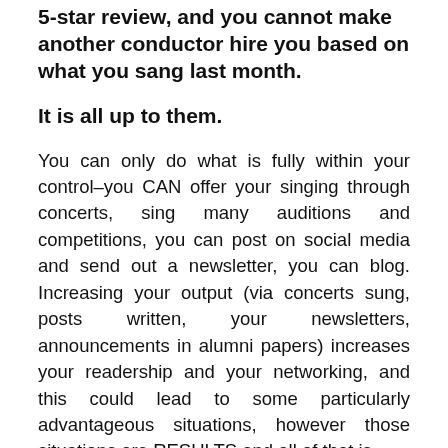5-star review, and you cannot make another conductor hire you based on what you sang last month.
It is all up to them.
You can only do what is fully within your control–you CAN offer your singing through concerts, sing many auditions and competitions, you can post on social media and send out a newsletter, you can blog. Increasing your output (via concerts sung, posts written, your newsletters, announcements in alumni papers) increases your readership and your networking, and this could lead to some particularly advantageous situations, however those situations are RESULTS and all of that is